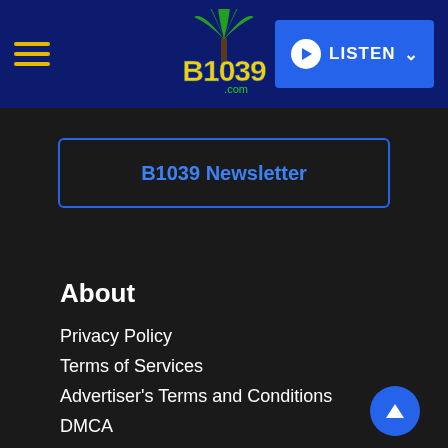B1039.com — LISTEN
B1039 Newsletter
About
Privacy Policy
Terms of Services
Advertiser's Terms and Conditions
DMCA
EEO
FCC Public File
FCC Applications